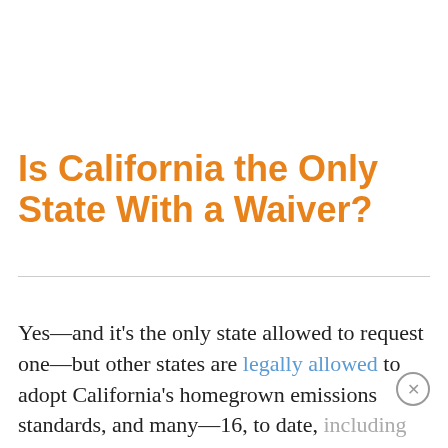Is California the Only State With a Waiver?
Yes—and it's the only state allowed to request one—but other states are legally allowed to adopt California's homegrown emissions standards, and many—16, to date, including New York, New Jersey, Oregon, Pennsylvania, Vermont, Florida, and Washington—have either followed ...